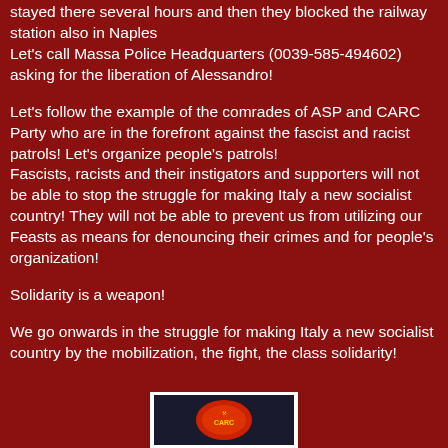stayed there several hours and then they blocked the railway station also in Naples
Let's call Massa Police Headquarters (0039-585-494602) asking for the liberation of Alessandro!
Let's follow the example of the comrades of ASP and CARC Party who are in the forefront against the fascist and racist patrols! Let's organize people's patrols!
Fascists, racists and their instigators and supporters will not be able to stop the struggle for making Italy a new socialist country! They will not be able to prevent us from utilizing our Feasts as means for denouncing their crimes and for people's organization!
Solidarity is a weapon!
We go onwards in the struggle for making Italy a new socialist country by the mobilization, the fight, the class solidarity!
[Figure (logo): CARC Party logo on dark background with red and yellow circular emblem]